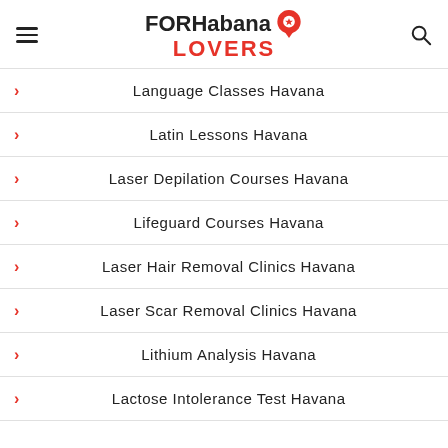FORHabana LOVERS
Language Classes Havana
Latin Lessons Havana
Laser Depilation Courses Havana
Lifeguard Courses Havana
Laser Hair Removal Clinics Havana
Laser Scar Removal Clinics Havana
Lithium Analysis Havana
Lactose Intolerance Test Havana